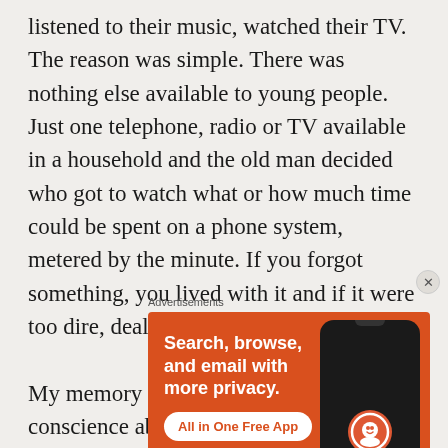listened to their music, watched their TV. The reason was simple. There was nothing else available to young people. Just one telephone, radio or TV available in a household and the old man decided who got to watch what or how much time could be spent on a phone system, metered by the minute. If you forgot something, you lived with it and if it were too dire, dealt with the consequences.
My memory of the 60s was having a bad conscience about things I hadn't done well enough. Teachers were abusive, you often got only one chance to ask
Advertisements
[Figure (screenshot): DuckDuckGo advertisement banner on orange background showing 'Search, browse, and email with more privacy. All in One Free App' with a phone mockup and DuckDuckGo logo]